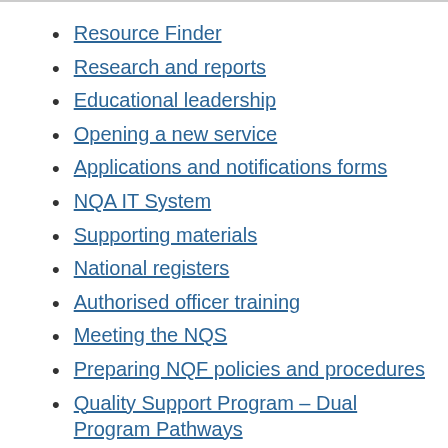Resource Finder
Research and reports
Educational leadership
Opening a new service
Applications and notifications forms
NQA IT System
Supporting materials
National registers
Authorised officer training
Meeting the NQS
Preparing NQF policies and procedures
Quality Support Program – Dual Program Pathways